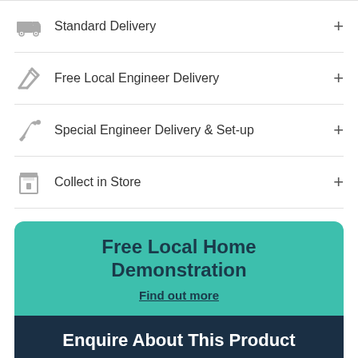Standard Delivery
Free Local Engineer Delivery
Special Engineer Delivery & Set-up
Collect in Store
Free Local Home Demonstration
Find out more
Enquire About This Product
Contact US